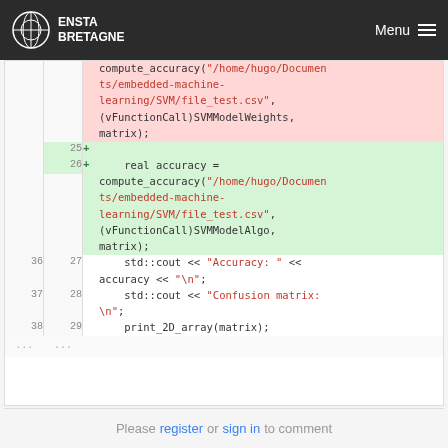ENSTA BRETAGNE | Menu
[Figure (screenshot): Code diff showing additions and context lines of C++ code with compute_accuracy and print_2D_array calls]
Please register or sign in to comment